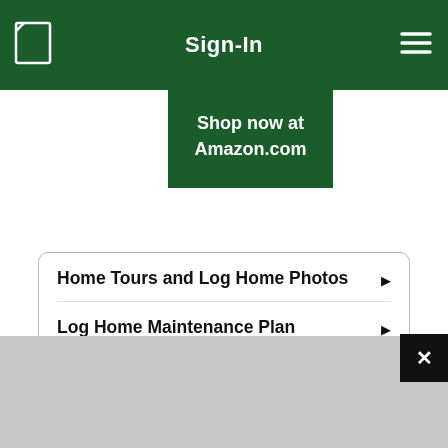Sign-In
Shop now at Amazon.com
Home Tours and Log Home Photos
Log Home Maintenance Plan